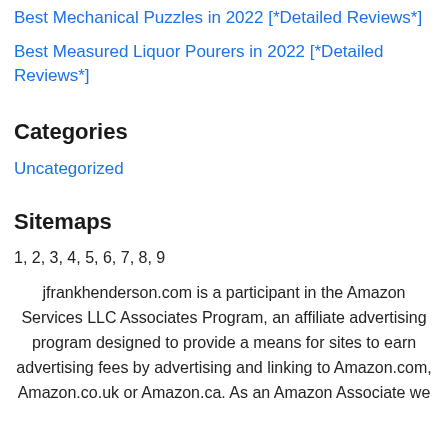Best Mechanical Puzzles in 2022 [*Detailed Reviews*]
Best Measured Liquor Pourers in 2022 [*Detailed Reviews*]
Categories
Uncategorized
Sitemaps
1, 2, 3, 4, 5, 6, 7, 8, 9
jfrankhenderson.com is a participant in the Amazon Services LLC Associates Program, an affiliate advertising program designed to provide a means for sites to earn advertising fees by advertising and linking to Amazon.com, Amazon.co.uk or Amazon.ca. As an Amazon Associate we